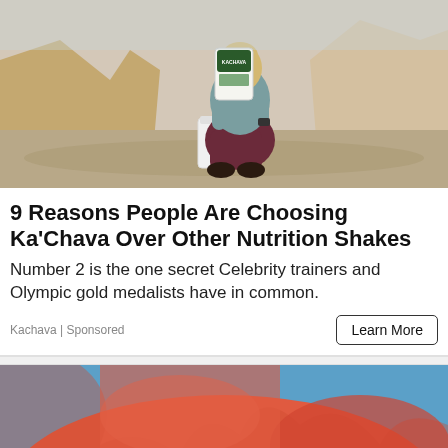[Figure (photo): Woman crouching outdoors in rocky landscape holding a Ka'Chava nutrition shake bag, pouring into a white container]
9 Reasons People Are Choosing Ka'Chava Over Other Nutrition Shakes
Number 2 is the one secret Celebrity trainers and Olympic gold medalists have in common.
Kachava | Sponsored
[Figure (photo): Person wearing coral/orange hoodie sweatshirt, partially visible, with blue background]